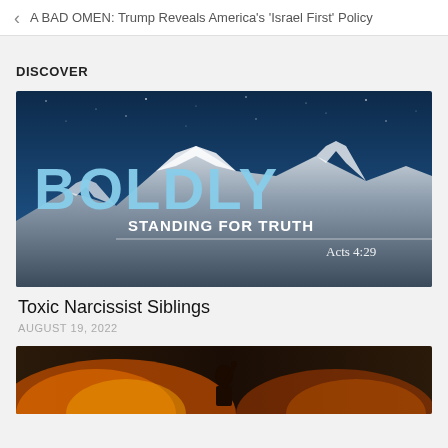A BAD OMEN: Trump Reveals America's 'Israel First' Policy
DISCOVER
[Figure (photo): Promotional banner image for 'Boldly Standing for Truth' with large blue text reading BOLDLY and subtitle STANDING FOR TRUTH, Acts 4:29, over a mountain night sky background]
Toxic Narcissist Siblings
AUGUST 19, 2022
[Figure (photo): Dark image of a silhouetted figure against a large fire or explosion with orange/yellow flames]